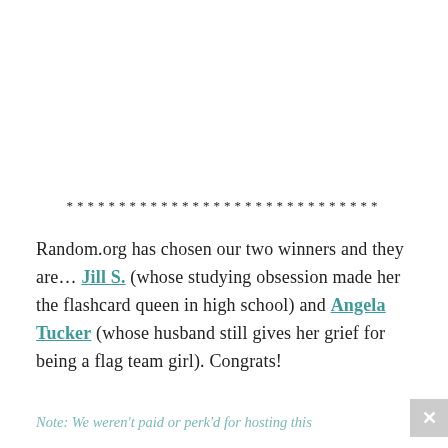******************************
Random.org has chosen our two winners and they are… Jill S. (whose studying obsession made her the flashcard queen in high school) and Angela Tucker (whose husband still gives her grief for being a flag team girl). Congrats!
Note: We weren't paid or perk'd for hosting this